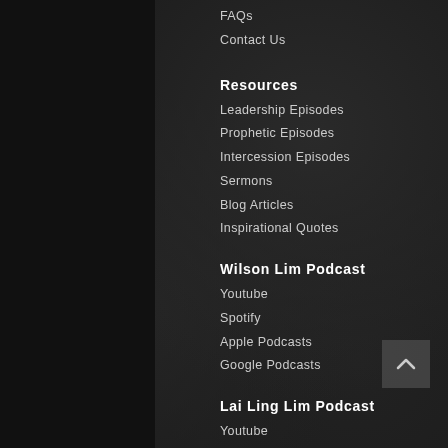FAQs
Contact Us
Resources
Leadership Episodes
Prophetic Episodes
Intercession Episodes
Sermons
Blog Articles
Inspirational Quotes
Wilson Lim Podcast
Youtube
Spotify
Apple Podcasts
Google Podcasts
Lai Ling Lim Podcast
Youtube
Spotify
Apple Podcasts